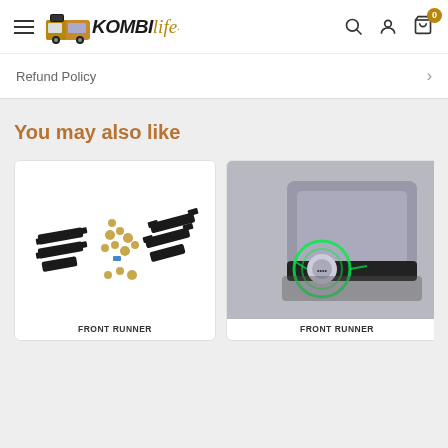KombiLife — Header with hamburger menu, logo, search, account, and cart (0 items)
Refund Policy
You may also like
[Figure (photo): Front Runner product — metal bracket mounting hardware kit with bolts and nuts on white background]
FRONT RUNNER
[Figure (photo): Front Runner product — vehicle accessory component shown installed, with green lit feature detail]
FRONT RUNNER